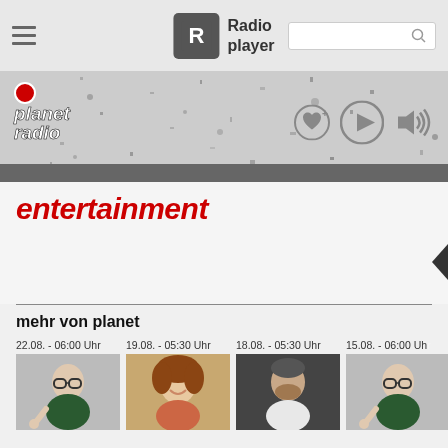[Figure (screenshot): Radioplayer navigation bar with hamburger menu, Radioplayer logo, and search box]
[Figure (screenshot): Planet radio banner with logo, play button, heart icon, and volume icon on textured background]
entertainment
mehr von planet
22.08. - 06:00 Uhr
19.08. - 05:30 Uhr
18.08. - 05:30 Uhr
15.08. - 06:00 Uhr